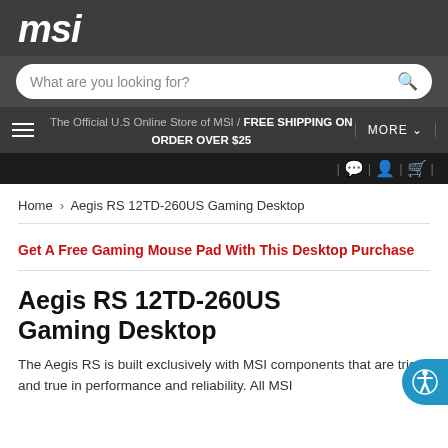[Figure (logo): MSI logo in white italic bold text on dark gray background]
What are you looking for? [search bar]
The Official U.S Online Store of MSI / FREE SHIPPING ON ORDER OVER $25 | MORE
Icons: chat, account, cart
Home > Aegis RS 12TD-260US Gaming Desktop
Get A Free Gaming Mouse Pad With This Desktop Purchase
Aegis RS 12TD-260US Gaming Desktop
The Aegis RS is built exclusively with MSI components that are tried and true in performance and reliability. All MSI